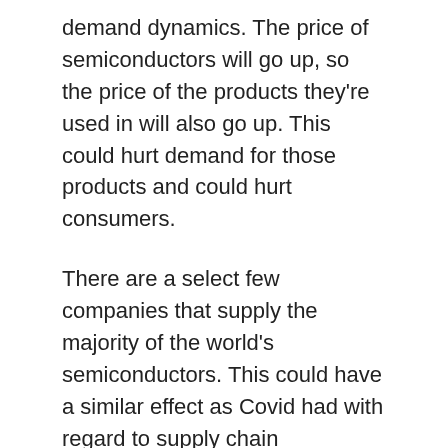demand dynamics. The price of semiconductors will go up, so the price of the products they're used in will also go up. This could hurt demand for those products and could hurt consumers.
There are a select few companies that supply the majority of the world's semiconductors. This could have a similar effect as Covid had with regard to supply chain management. Companies relied on global trade and cooperation to sustain their supply chain operations. When countries shut down due to the pandemic, global trade suffered as a result. Countries might shift to manufacturing their own semiconductors instead of relying on supply from trading partners.
Semiconductors are only getting less expensive and